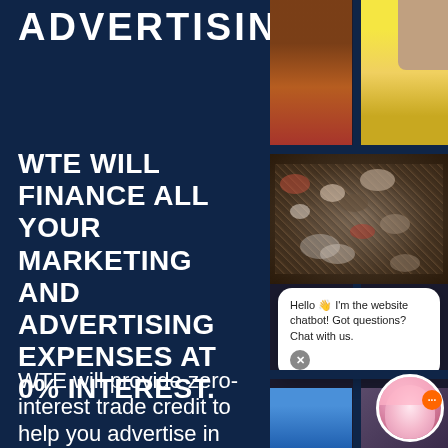ADVERTISING
WTE WILL FINANCE ALL YOUR MARKETING AND ADVERTISING EXPENSES AT 0% INTEREST.
WTE will provide zero-interest trade credit to help you advertise in
[Figure (screenshot): Right panel showing a collage of images including a crowd of people, a yellow background image, and a website chatbot popup bubble saying 'Hello 👋 I'm the website chatbot! Got questions? Chat with us.' with a close button and an avatar of a woman with pink hair and an orange notification dot.]